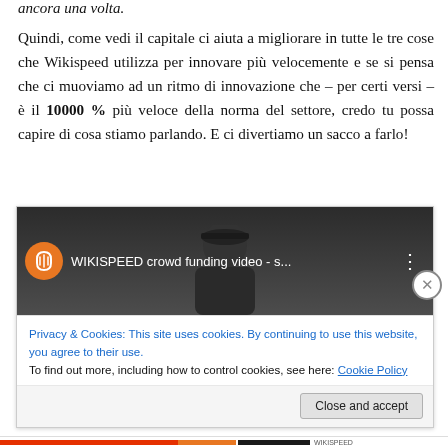ancora una volta.
Quindi, come vedi il capitale ci aiuta a migliorare in tutte le tre cose che Wikispeed utilizza per innovare più velocemente e se si pensa che ci muoviamo ad un ritmo di innovazione che – per certi versi – è il 10000 % più veloce della norma del settore, credo tu possa capire di cosa stiamo parlando. E ci divertiamo un sacco a farlo!
[Figure (screenshot): Embedded YouTube video thumbnail for 'WIKISPEED crowd funding video - s...' with an orange Wikispeed logo circle on the left and a dark background showing a person in a cap, with a cookie consent notice overlay below reading 'Privacy & Cookies: This site uses cookies. By continuing to use this website, you agree to their use. To find out more, including how to control cookies, see here: Cookie Policy' and a 'Close and accept' button.]